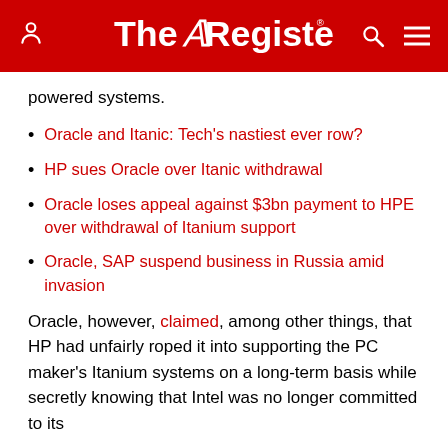The Register
powered systems.
Oracle and Itanic: Tech's nastiest ever row?
HP sues Oracle over Itanic withdrawal
Oracle loses appeal against $3bn payment to HPE over withdrawal of Itanium support
Oracle, SAP suspend business in Russia amid invasion
Oracle, however, claimed, among other things, that HP had unfairly roped it into supporting the PC maker's Itanium systems on a long-term basis while secretly knowing that Intel was no longer committed to its